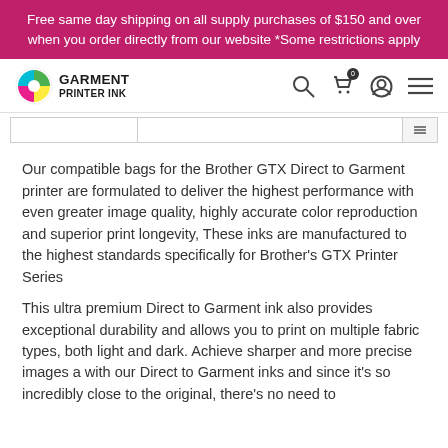Free same day shipping on all supply purchases of $150 and over when you order directly from our website *Some restrictions apply
[Figure (logo): Garment Printer Ink logo with colorful circular icon and bold text]
Our compatible bags for the Brother GTX Direct to Garment printer are formulated to deliver the highest performance with even greater image quality, highly accurate color reproduction and superior print longevity, These inks are manufactured to the highest standards specifically for Brother's GTX Printer Series
This ultra premium Direct to Garment ink also provides exceptional durability and allows you to print on multiple fabric types, both light and dark. Achieve sharper and more precise images a with our Direct to Garment inks and since it's so incredibly close to the original, there's no need to